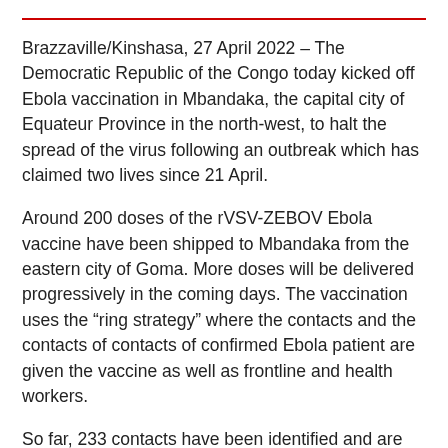Brazzaville/Kinshasa, 27 April 2022 – The Democratic Republic of the Congo today kicked off Ebola vaccination in Mbandaka, the capital city of Equateur Province in the north-west, to halt the spread of the virus following an outbreak which has claimed two lives since 21 April.
Around 200 doses of the rVSV-ZEBOV Ebola vaccine have been shipped to Mbandaka from the eastern city of Goma. More doses will be delivered progressively in the coming days. The vaccination uses the “ring strategy” where the contacts and the contacts of contacts of confirmed Ebola patient are given the vaccine as well as frontline and health workers.
So far, 233 contacts have been identified and are being monitored. Three vaccination teams are already on the ground and will work to reach all the people at high risk. To